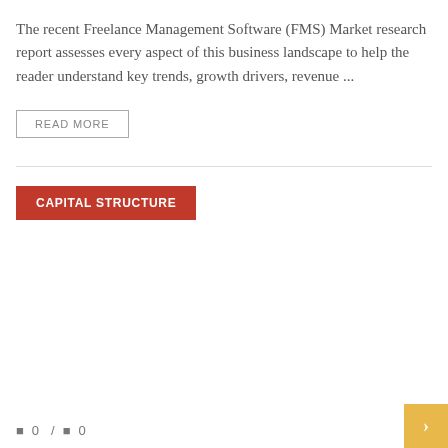The recent Freelance Management Software (FMS) Market research report assesses every aspect of this business landscape to help the reader understand key trends, growth drivers, revenue ...
READ MORE
CAPITAL STRUCTURE
0 / 0